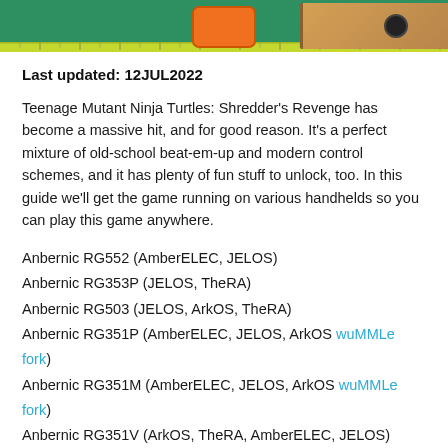[Figure (photo): Top strip image showing gaming handhelds on a green cutting mat with ruler strip, including an orange device and wooden-colored controller on the right.]
Last updated: 12JUL2022
Teenage Mutant Ninja Turtles: Shredder's Revenge has become a massive hit, and for good reason. It's a perfect mixture of old-school beat-em-up and modern control schemes, and it has plenty of fun stuff to unlock, too. In this guide we'll get the game running on various handhelds so you can play this game anywhere.
Anbernic RG552 (AmberELEC, JELOS)
Anbernic RG353P (JELOS, TheRA)
Anbernic RG503 (JELOS, ArkOS, TheRA)
Anbernic RG351P (AmberELEC, JELOS, ArkOS wuMMLe fork)
Anbernic RG351M (AmberELEC, JELOS, ArkOS wuMMLe fork)
Anbernic RG351V (ArkOS, TheRA, AmberELEC, JELOS)
Anbernic RG351MP (ArkOS, TheRA, AmberELEC, JELOS)
PowKiddy RGB10 (ArkOS) and the compatibility RGB10S…